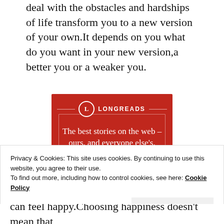deal with the obstacles and hardships of life transform you to a new version of your own.It depends on you what do you want in your new version,a better you or a weaker you.
[Figure (illustration): Longreads advertisement banner with red background. Shows the Longreads logo (circle with L) and tagline 'The best stories on the web – ours, and everyone else's.' with a dark 'Start reading' button.]
Privacy & Cookies: This site uses cookies. By continuing to use this website, you agree to their use.
To find out more, including how to control cookies, see here: Cookie Policy
Close and accept
can feel happy.Choosing happiness doesn't mean that